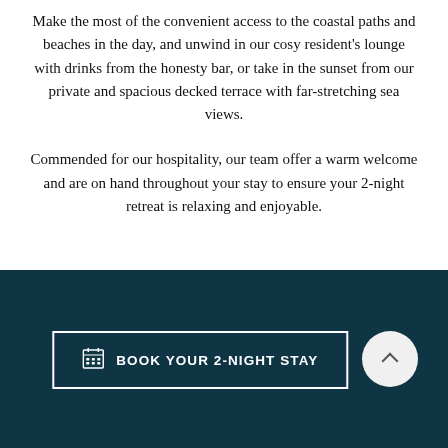Make the most of the convenient access to the coastal paths and beaches in the day, and unwind in our cosy resident's lounge with drinks from the honesty bar, or take in the sunset from our private and spacious decked terrace with far-stretching sea views.
Commended for our hospitality, our team offer a warm welcome and are on hand throughout your stay to ensure your 2-night retreat is relaxing and enjoyable.
BOOK YOUR 2-NIGHT STAY